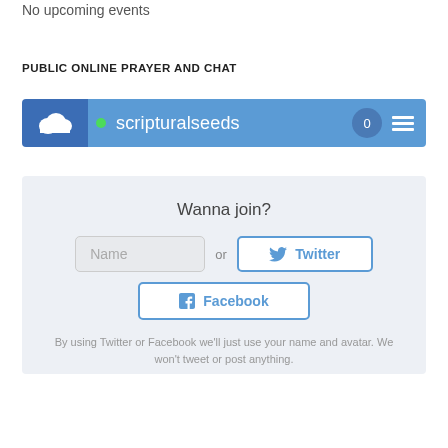No upcoming events
PUBLIC ONLINE PRAYER AND CHAT
[Figure (screenshot): Chat bar widget showing a cloud icon on dark blue background, a green dot, the text 'scripturalseeds' in white on blue background, a badge showing '0', and a hamburger menu icon]
[Figure (screenshot): Join widget with 'Wanna join?' heading, a Name input field, 'or' text, a Twitter button with bird icon, a Facebook button with F icon, and a note about not tweeting or posting]
By using Twitter or Facebook we'll just use your name and avatar. We won't tweet or post anything.